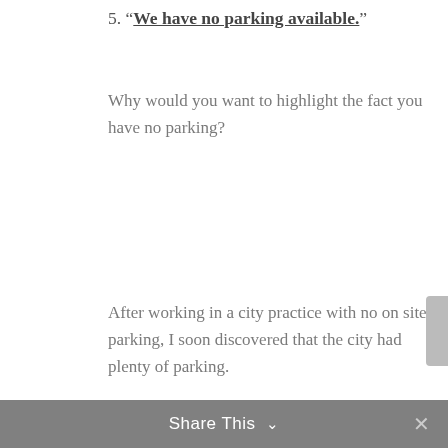5. "We have no parking available."
Why would you want to highlight the fact you have no parking?
After working in a city practice with no on site parking, I soon discovered that the city had plenty of parking.
Let the caller know where other patients find parking and send a parking map.
Easy!
6. "Dr Jones is away for two weeks."
Make the appointment for two weeks time.
Share This ∨  ✕